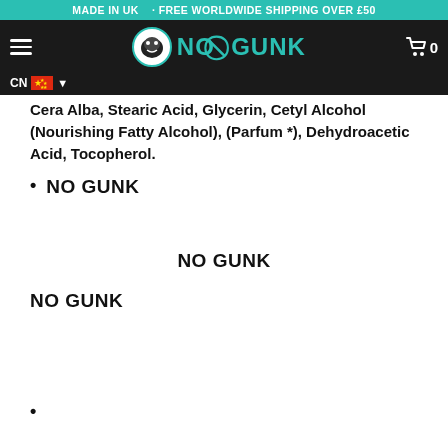MADE IN UK · FREE WORLDWIDE SHIPPING OVER £50
[Figure (logo): NO GUNK brand logo with dinosaur icon in teal on dark navigation bar, with hamburger menu, country selector (CN with Chinese flag), and shopping cart showing 0 items]
Cera Alba, Stearic Acid, Glycerin, Cetyl Alcohol (Nourishing Fatty Alcohol), (Parfum *), Dehydroacetic Acid, Tocopherol.
NO GUNK
NO GUNK
NO GUNK